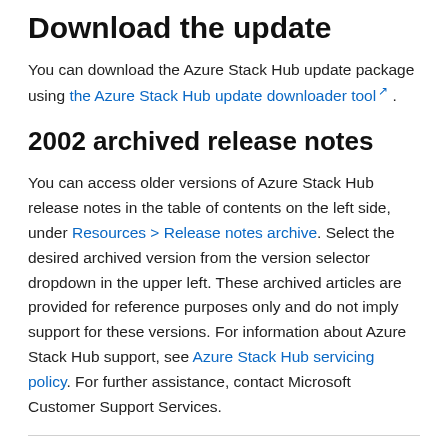Download the update
You can download the Azure Stack Hub update package using the Azure Stack Hub update downloader tool.
2002 archived release notes
You can access older versions of Azure Stack Hub release notes in the table of contents on the left side, under Resources > Release notes archive. Select the desired archived version from the version selector dropdown in the upper left. These archived articles are provided for reference purposes only and do not imply support for these versions. For information about Azure Stack Hub support, see Azure Stack Hub servicing policy. For further assistance, contact Microsoft Customer Support Services.
Recommended updates